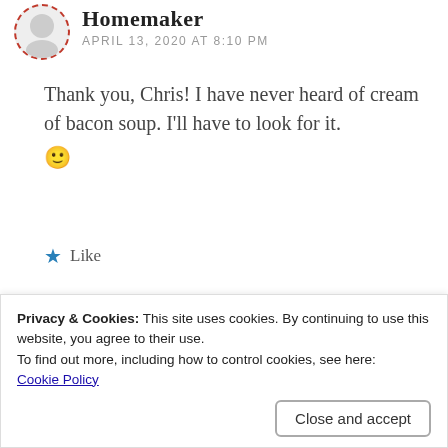[Figure (illustration): Circular avatar image with dashed red border, partially cut off at top, showing a person illustration]
Homemaker
APRIL 13, 2020 AT 8:10 PM
Thank you, Chris! I have never heard of cream of bacon soup. I'll have to look for it. 🙂
★ Like
Reply
[Figure (illustration): Circular avatar image with dashed purple border, partially visible at bottom]
Privacy & Cookies: This site uses cookies. By continuing to use this website, you agree to their use.
To find out more, including how to control cookies, see here:
Cookie Policy
Close and accept
★ Liked by 1 person